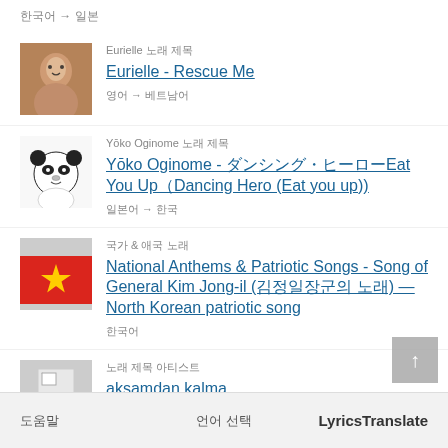한국어 → 일본
Eurielle 노래 제목 / Eurielle - Rescue Me / 영어 → 베트남어
Yōko Oginome 노래 제목 / Yōko Oginome - ダンシング・ヒーローEat You Up（Dancing Hero (Eat you up)) / 일본어 → 한국
국가 & 애국 노래 / National Anthems & Patriotic Songs - Song of General Kim Jong-il (김정일장군의 노래) — North Korean patriotic song / 한국어
노래 제목 아티스트 / akşamdan kalma
도움말  언어 선택  LyricsTranslate